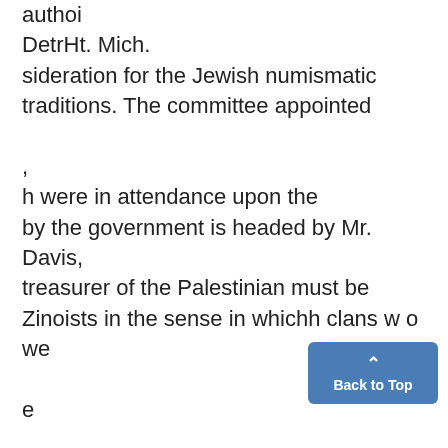authoi
DetrHt. Mich.
sideration for the Jewish numismatic traditions. The committee appointed
,
h were in attendance upon the by the government is headed by Mr. Davis, treasurer of the Palestinian must be Zinoists in the sense in whichh clans w o we
e
re.l
administration, and has as its m the bank directors of Palestine has become defined by for.